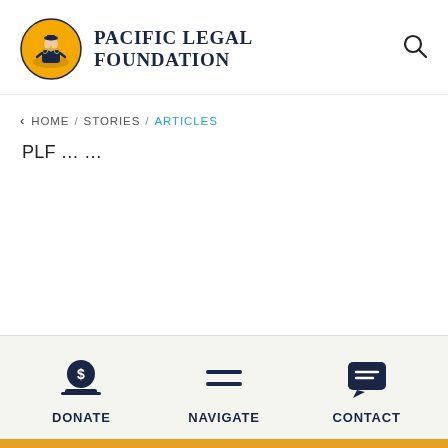[Figure (logo): Pacific Legal Foundation logo with circular yellow badge showing a figure at scales of justice, and bold serif text 'PACIFIC LEGAL FOUNDATION']
HOME / STORIES / ARTICLES
PLF … …
DONATE  NAVIGATE  CONTACT